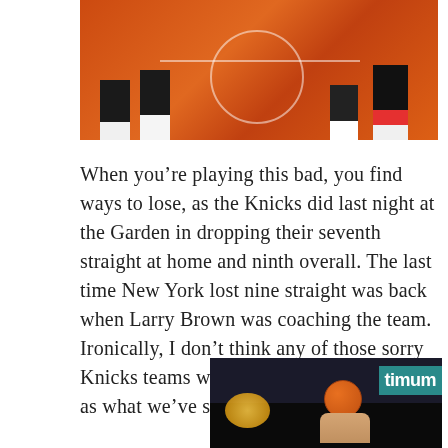[Figure (photo): Basketball court photo from above showing player legs and feet on an orange court with white lines, partial view cropped at top]
When you’re playing this bad, you find ways to lose, as the Knicks did last night at the Garden in dropping their seventh straight at home and ninth overall. The last time New York lost nine straight was back when Larry Brown was coaching the team. Ironically, I don’t think any of those sorry Knicks teams were ever as bad defensively as what we’ve seen on this losing streak.
[Figure (photo): Indoor basketball arena photo showing a player shooting or holding a basketball up, with an Optimum advertisement sign visible in the background and arena lights]